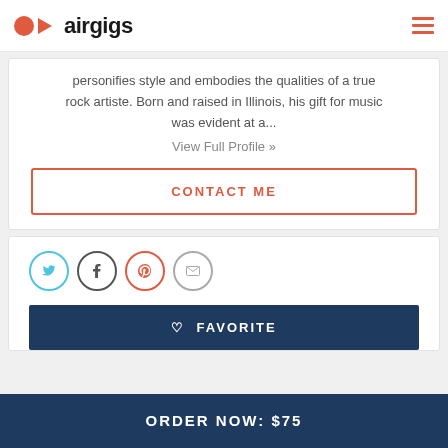airgigs
personifies style and embodies the qualities of a true rock artiste. Born and raised in Illinois, his gift for music was evident at a...
View Full Profile »
CONTACT ME
[Figure (other): Social sharing icons: Twitter, Facebook, Pinterest, Email]
♡ FAVORITE
ORDER NOW: $75